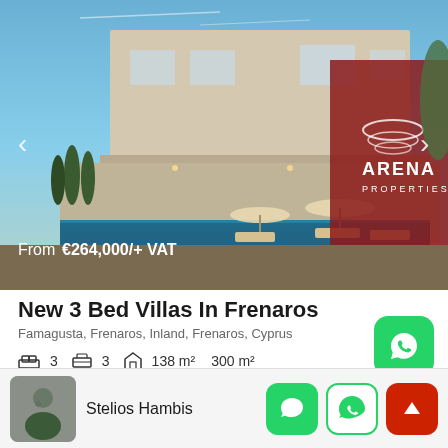[Figure (photo): Exterior rendering of modern 3-bedroom villa with pool, sun loungers, umbrellas, and cypress trees. Arena Properties logo visible on red wall. Navigation arrows on sides.]
From €264,000/+ VAT
New 3 Bed Villas In Frenaros
Famagusta, Frenaros, Inland, Frenaros, Cyprus
3  3  138 m²  300 m²
Stelios Hambis